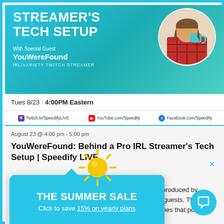[Figure (screenshot): Banner for Streamer's Tech Setup with YouWereFound, IRL/Variety Twitch Streamer. Shows circular photo of person drinking from mug, gradient teal background.]
Tues 8/23 · 4:00PM Eastern
Twitch.tv/SpeedifyLIVE   YouTube.com/Speedify   Facebook.com/Speedify
August 23 @ 4:00 pm - 5:00 pm
YouWereFound: Behind a Pro IRL Streamer's Tech Setup | Speedify LIVE
ABOUT THE SHOW
Speedify LIVE is a weekly talk show and web series produced by Speedify. Alex Gizis from Conduit connects with special guests. The show covers the history of live streaming and the technologies that power it and frequently
[Figure (infographic): Summer sale popup overlay with sun icon. THE SUMMER SALE - Click to save 15% on yearly plans]